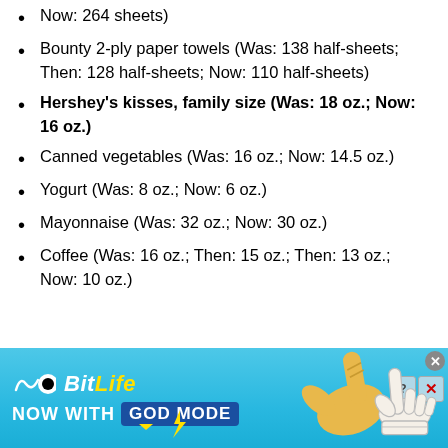Now: 264 sheets)
Bounty 2-ply paper towels (Was: 138 half-sheets; Then: 128 half-sheets; Now: 110 half-sheets)
Hershey's kisses, family size (Was: 18 oz.; Now: 16 oz.)
Canned vegetables (Was: 16 oz.; Now: 14.5 oz.)
Yogurt (Was: 8 oz.; Now: 6 oz.)
Mayonnaise (Was: 32 oz.; Now: 30 oz.)
Coffee (Was: 16 oz.; Then: 15 oz.; Then: 13 oz.; Now: 10 oz.)
[Figure (screenshot): BitLife advertisement banner — 'BitLife Now With GOD MODE' with hand illustrations on a light blue background]